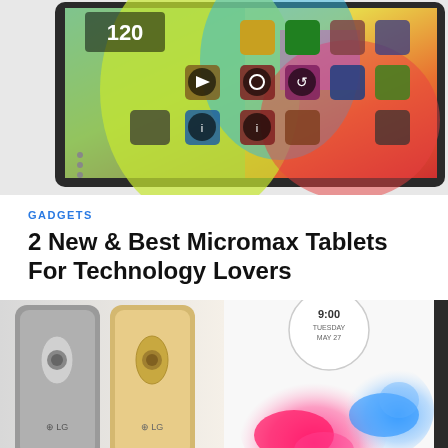[Figure (photo): A colorful Android tablet/smartphone showing a vibrant home screen with app icons and widgets, viewed from a slight angle. The device has a dark metallic frame.]
GADGETS
2 New & Best Micromax Tablets For Technology Lovers
[Figure (photo): Two LG smartphones side by side — one dark/silver and one gold/champagne colored, showing their backs with LG logo and camera button.]
[Figure (photo): An LG G3 smartphone showing its screen with a clock reading 9:00, Tuesday May 27, with colorful pink and blue ink/splash design on the wallpaper.]